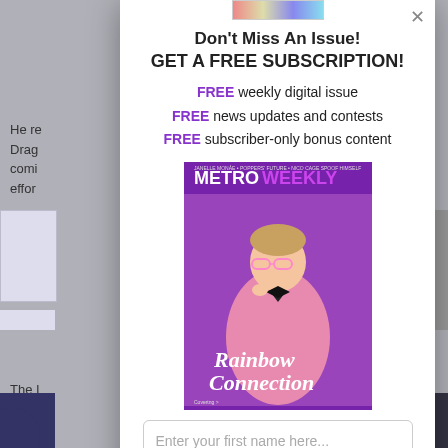Don't Miss An Issue! GET A FREE SUBSCRIPTION!
FREE weekly digital issue
FREE news updates and contests
FREE subscriber-only bonus content
[Figure (photo): Metro Weekly magazine cover featuring a man in a pink sparkly tuxedo holding pink glasses, with text 'METROWEEKLY' and 'Rainbow Connection']
Enter your first name here...
Enter your email here...